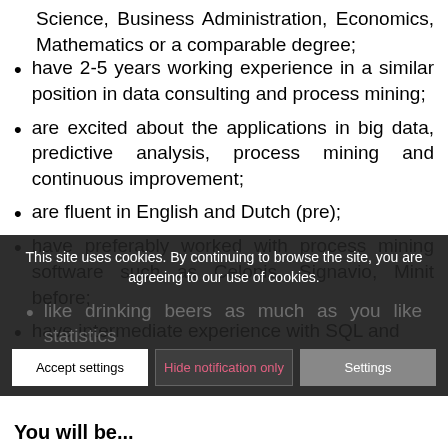Science, Business Administration, Economics, Mathematics or a comparable degree;
have 2-5 years working experience in a similar position in data consulting and process mining;
are excited about the applications in big data, predictive analysis, process mining and continuous improvement;
are fluent in English and Dutch (pre);
have preferably worked with process mining software such as Celonis, Signavio, Minit before;
have intermediate experience with SQL and
like drinking beers as much as you like statistics
This site uses cookies. By continuing to browse the site, you are agreeing to our use of cookies.
You will be...